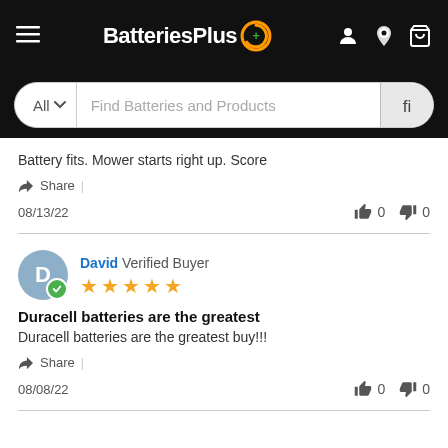[Figure (screenshot): BatteriesPlus website header with logo, hamburger menu, account, location, and cart icons on black background, and a search bar below]
Battery fits. Mower starts right up. Score
Share |
08/13/22   👍 0   👎 0
David Verified Buyer ★★★★★
Duracell batteries are the greatest
Duracell batteries are the greatest buy!!!
Share |
08/08/22   👍 0   👎 0